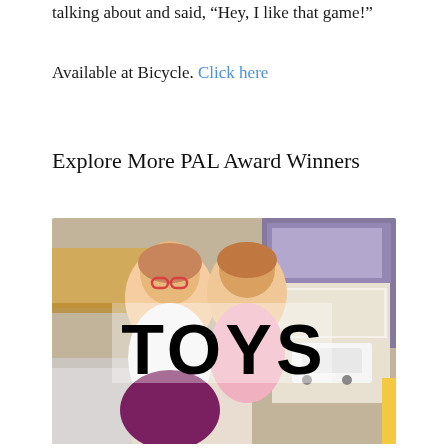talking about and said, “Hey, I like that game!”
Available at Bicycle. Click here
Explore More PAL Award Winners
[Figure (photo): Two young girls smiling in a classroom setting, with toys visible in the background. Large bold text 'TOYS' overlaid in the center of the image.]